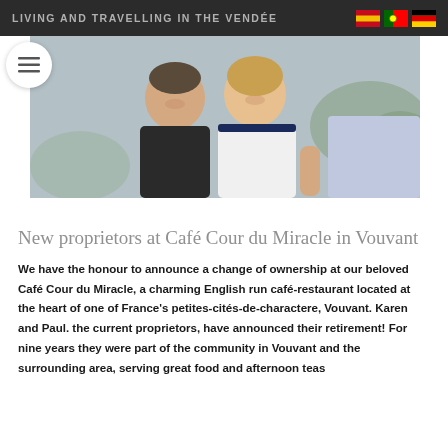LIVING AND TRAVELLING IN THE VENDÉE
[Figure (photo): Two people smiling outdoors, a man in a dark polo shirt and a woman in a white top with navy trim, standing in front of a stone wall with foliage]
New proprietors at Café Cour du Miracle in Vouvant
We have the honour to announce a change of ownership at our beloved Café Cour du Miracle, a charming English run café-restaurant located at the heart of one of France's petites-cités-de-charactere, Vouvant. Karen and Paul. the current proprietors, have announced their retirement! For nine years they were part of the community in Vouvant and the surrounding area, serving great food and afternoon teas